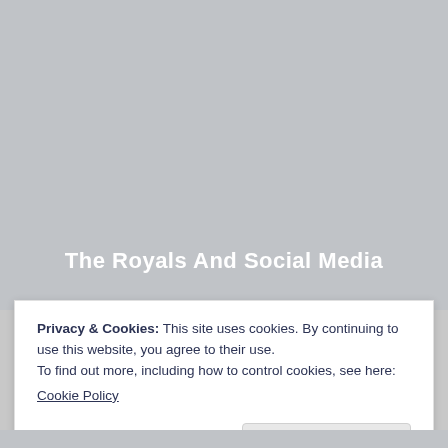[Figure (photo): Gray placeholder image area representing a photo about The Royals And Social Media]
The Royals And Social Media
Privacy & Cookies: This site uses cookies. By continuing to use this website, you agree to their use.
To find out more, including how to control cookies, see here:
Cookie Policy
Close and accept